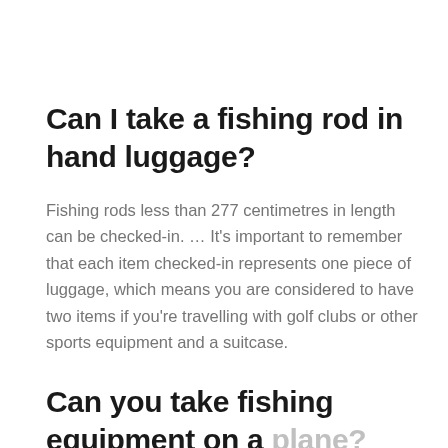Can I take a fishing rod in hand luggage?
Fishing rods less than 277 centimetres in length can be checked-in. … It's important to remember that each item checked-in represents one piece of luggage, which means you are considered to have two items if you're travelling with golf clubs or other sports equipment and a suitcase.
Can you take fishing equipment on a plane?